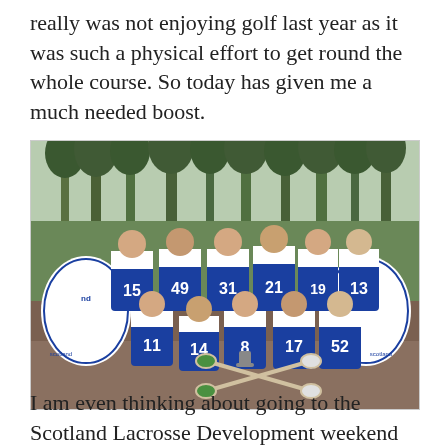really was not enjoying golf last year as it was such a physical effort to get round the whole course. So today has given me a much needed boost.
[Figure (photo): Group photo of a lacrosse team posing on a field. Players wear blue and white jerseys with numbers 15, 49, 31, 21, 19, 13 in the back row and 11, 14, 8, 17, 52 in the front row. Scotland Lacrosse banners visible on left and right sides. Players holding lacrosse sticks crossed in front.]
I am even thinking about going to the Scotland Lacrosse Development weekend which is run